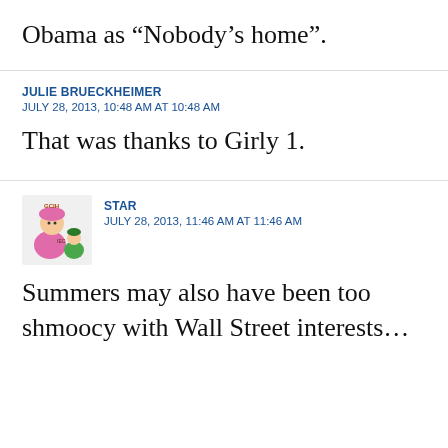Obama as “Nobody’s home”.
JULIE BRUECKHEIMER
JULY 28, 2013, 10:48 AM AT 10:48 AM
That was thanks to Girly 1.
STAR
JULY 28, 2013, 11:46 AM AT 11:46 AM
Summers may also have been too shmoocy with Wall Street interests…